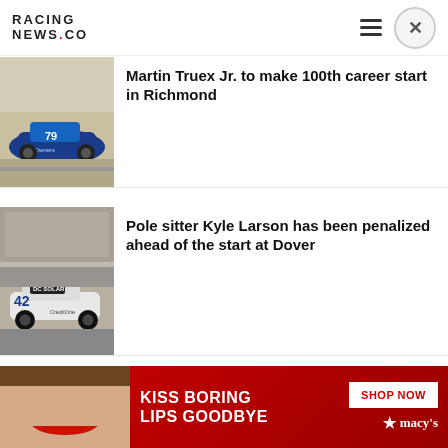RACING NEWS.CO
[Figure (photo): Blue NASCAR race car #79 on track]
Martin Truex Jr. to make 100th career start in Richmond
[Figure (photo): White NASCAR race car #42 with DC Solar and CreditOne sponsorship in pit area]
Pole sitter Kyle Larson has been penalized ahead of the start at Dover
[Figure (photo): NASCAR race car with smoke/burnout on track]
PREV POST
Tony Stewart says 'I would love to have' Kyle Larson at Stewart-Haas
[Figure (photo): Macy's advertisement: KISS BORING LIPS GOODBYE with SHOP NOW button]